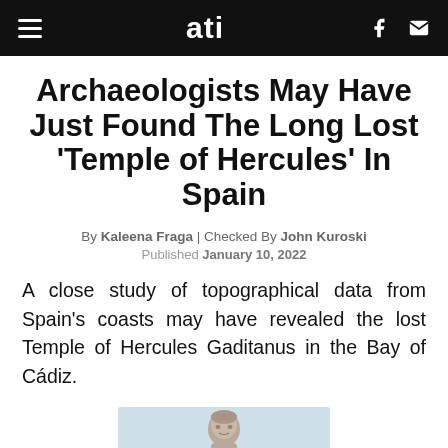ati
Archaeologists May Have Just Found The Long Lost 'Temple of Hercules' In Spain
By Kaleena Fraga | Checked By John Kuroski
Published January 10, 2022
A close study of topographical data from Spain's coasts may have revealed the lost Temple of Hercules Gaditanus in the Bay of Cádiz.
[Figure (photo): Partial image of a stone statue, likely Hercules, against a light blue background]